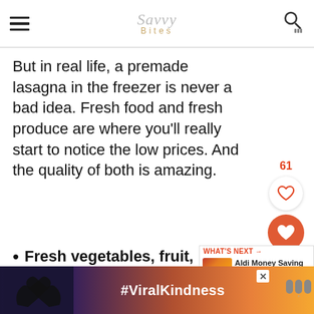Savvy Bites
But in real life, a premade lasagna in the freezer is never a bad idea. Fresh food and fresh produce are where you'll really start to notice the low prices. And the quality of both is amazing.
Fresh vegetables, fruit, whole foods